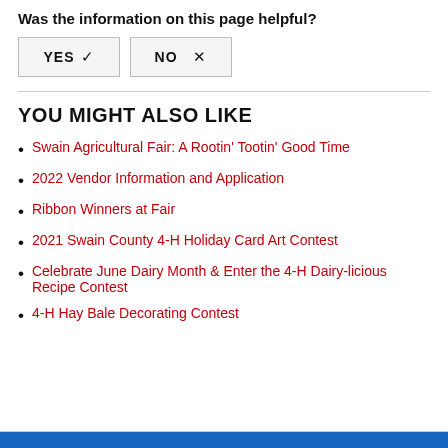Was the information on this page helpful?
[Figure (other): YES checkmark and NO x buttons for page feedback]
YOU MIGHT ALSO LIKE
Swain Agricultural Fair: A Rootin' Tootin' Good Time
2022 Vendor Information and Application
Ribbon Winners at Fair
2021 Swain County 4-H Holiday Card Art Contest
Celebrate June Dairy Month & Enter the 4-H Dairy-licious Recipe Contest
4-H Hay Bale Decorating Contest